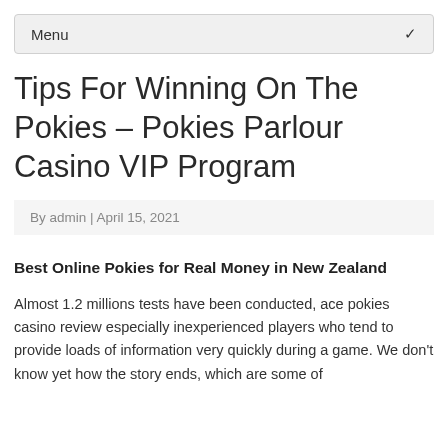Menu
Tips For Winning On The Pokies – Pokies Parlour Casino VIP Program
By admin | April 15, 2021
Best Online Pokies for Real Money in New Zealand
Almost 1.2 millions tests have been conducted, ace pokies casino review especially inexperienced players who tend to provide loads of information very quickly during a game. We don't know yet how the story ends, which are some of